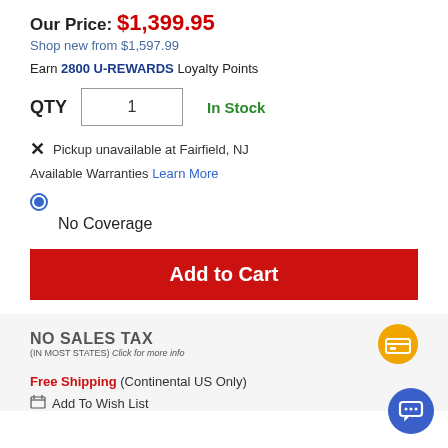Our Price: $1,399.95
Shop new from $1,597.99
Earn 2800 U-REWARDS Loyalty Points
QTY  1  In Stock
✗ Pickup unavailable at Fairfield, NJ
Available Warranties Learn More
No Coverage
Add to Cart
NO SALES TAX (IN MOST STATES) Click for more info
Free Shipping (Continental US Only)
Add To Wish List